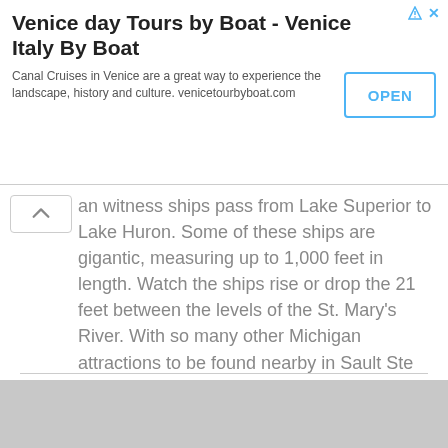[Figure (other): Advertisement banner for Venice day Tours by Boat - Venice Italy By Boat with OPEN button and ad icons]
Venice day Tours by Boat - Venice Italy By Boat
Canal Cruises in Venice are a great way to experience the landscape, history and culture. venicetourbyboat.com
an witness ships pass from Lake Superior to Lake Huron. Some of these ships are gigantic, measuring up to 1,000 feet in length. Watch the ships rise or drop the 21 feet between the levels of the St. Mary's River. With so many other Michigan attractions to be found nearby in Sault Ste Marie and the outlying region, you can make a great vacation out of your trip to the Soo Locks.